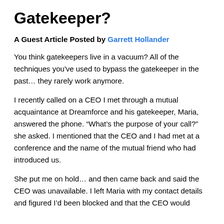Gatekeeper?
A Guest Article Posted by Garrett Hollander
You think gatekeepers live in a vacuum? All of the techniques you've used to bypass the gatekeeper in the past… they rarely work anymore.
I recently called on a CEO I met through a mutual acquaintance at Dreamforce and his gatekeeper, Maria, answered the phone. “What’s the purpose of your call?” she asked. I mentioned that the CEO and I had met at a conference and the name of the mutual friend who had introduced us.
She put me on hold… and then came back and said the CEO was unavailable. I left Maria with my contact details and figured I’d been blocked and that the CEO would